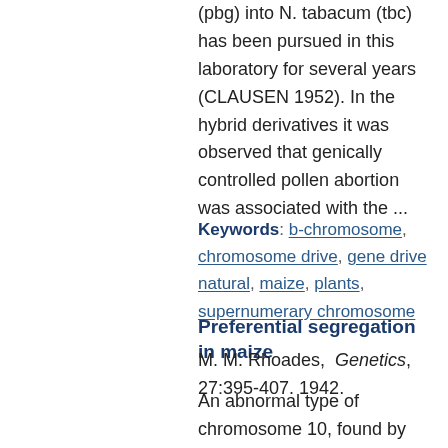(pbg) into N. tabacum (tbc) has been pursued in this laboratory for several years (CLAUSEN 1952). In the hybrid derivatives it was observed that genically controlled pollen abortion was associated with the ...
Keywords: b-chromosome, chromosome drive, gene drive natural, maize, plants, supernumerary chromosome
Preferential segregation in maize
M. M. Rhoades, Genetics, 27:395-407. 1942.
An abnormal type of chromosome 10, found by Longley in maize from the s.-w. part of the U. S., is preferentially segregated during megasporogenesis. More than 70% of the ovules receive the abnormal chromosome instead of the